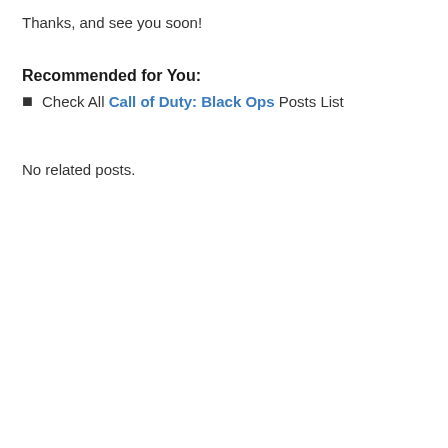Thanks, and see you soon!
Recommended for You:
Check All Call of Duty: Black Ops Posts List
No related posts.